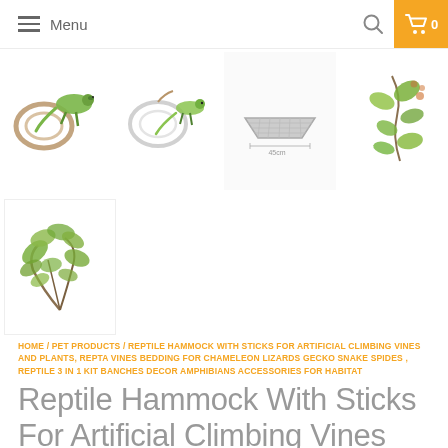Menu
[Figure (photo): Four product thumbnail images showing: reptile vine with snake/chameleon, vine with lizard, flat mesh hammock, and ivy/leaf decoration]
[Figure (photo): One product thumbnail image showing green plant/vine decoration]
HOME / PET PRODUCTS / REPTILE HAMMOCK WITH STICKS FOR ARTIFICIAL CLIMBING VINES AND PLANTS, REPTA VINES BEDDING FOR CHAMELEON LIZARDS GECKO SNAKE SPIDES , REPTILE 3 IN 1 KIT BANCHES DECOR AMPHIBIANS ACCESSORIES FOR HABITAT
Reptile Hammock With Sticks For Artificial Climbing Vines And Plants, Repta Vines Bedding for